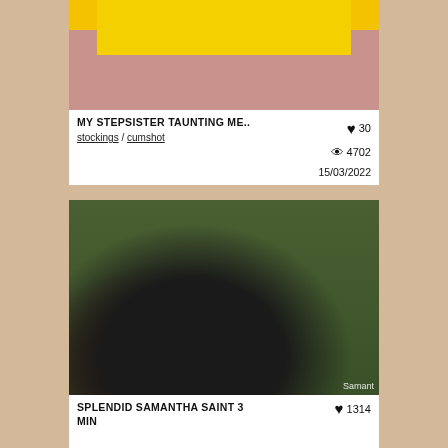[Figure (screenshot): Thumbnail image cropped, showing yellow clothing and skin tones]
MY STEPSISTER TAUNTING ME..
stockings / cumshot
♥ 30  👁 4702  15/03/2022
[Figure (photo): Photo of a Rottweiler dog with tongue out standing next to a blonde woman crouching outdoors]
SPLENDID SAMANTHA SAINT 3 MIN
♥ 1314